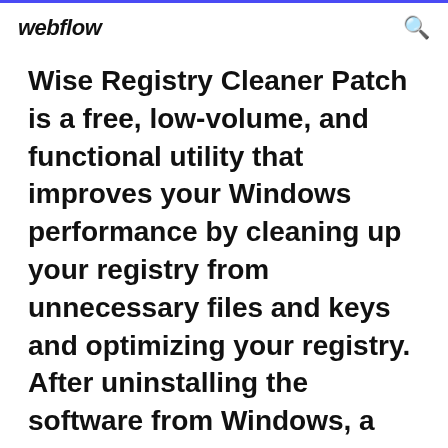webflow
Wise Registry Cleaner Patch is a free, low-volume, and functional utility that improves your Windows performance by cleaning up your registry from unnecessary files and keys and optimizing your registry. After uninstalling the software from Windows, a series of unnecessary keys will remain in the Windows registry key that you need to find and remove them to prevent Windows...